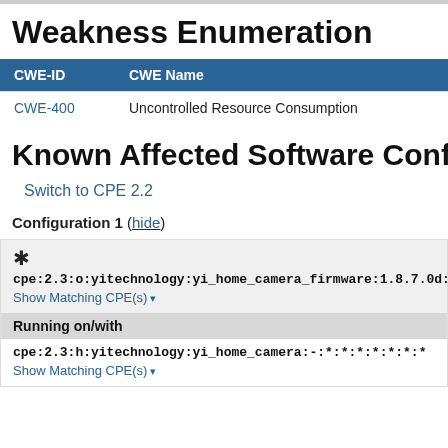Weakness Enumeration
| CWE-ID | CWE Name |
| --- | --- |
| CWE-400 | Uncontrolled Resource Consumption |
Known Affected Software Config
Switch to CPE 2.2
Configuration 1 (hide)
cpe:2.3:o:yitechnology:yi_home_camera_firmware:1.8.7.0d:*
Show Matching CPE(s)
Running on/with
cpe:2.3:h:yitechnology:yi_home_camera:-:*:*:*:*:*:*:*
Show Matching CPE(s)